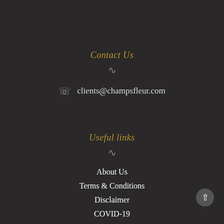Contact Us
clients@champsfleur.com
Useful links
About Us
Terms & Conditions
Disclaimer
COVID-19
Product Care
FAQs